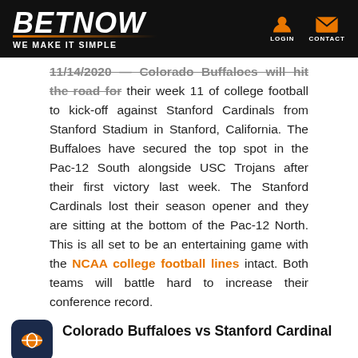BETNOW — WE MAKE IT SIMPLE
11/14/2020 — Colorado Buffaloes will hit the road for their week 11 of college football to kick-off against Stanford Cardinals from Stanford Stadium in Stanford, California. The Buffaloes have secured the top spot in the Pac-12 South alongside USC Trojans after their first victory last week. The Stanford Cardinals lost their season opener and they are sitting at the bottom of the Pac-12 North. This is all set to be an entertaining game with the NCAA college football lines intact. Both teams will battle hard to increase their conference record.
Colorado Buffaloes vs Stanford Cardinal 11/14/2020
| WHEN: | Saturday, November 14, 3:30 PM ET |
| --- | --- |